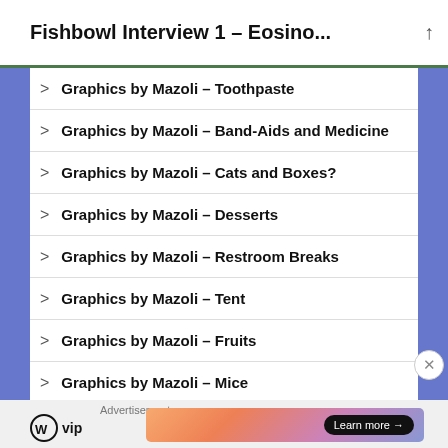Fishbowl Interview 1 – Eosino...
Graphics by Mazoli – Toothpaste
Graphics by Mazoli – Band-Aids and Medicine
Graphics by Mazoli – Cats and Boxes?
Graphics by Mazoli – Desserts
Graphics by Mazoli – Restroom Breaks
Graphics by Mazoli – Tent
Graphics by Mazoli – Fruits
Graphics by Mazoli – Mice
Graphics by Mazoli – Bees
Advertisements
wp vip   Learn more →